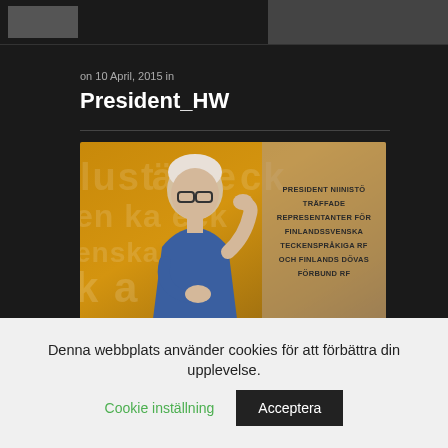on 10 April, 2015 in
President_HW
[Figure (photo): Video thumbnail showing a man in a blue polo shirt making a sign language gesture, with text overlay reading: PRESIDENT NIINISTÖ TRÄFFADE REPRESENTANTER FÖR FINLANDSSVENSKA TECKENSPRÅKIGA RF OCH FINLANDS DÖVAS FÖRBUND RF. Background is golden/amber with letters.]
Denna webbplats använder cookies för att förbättra din upplevelse. Cookie inställning Acceptera